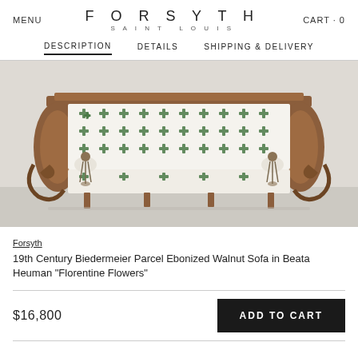MENU   FORSYTH SAINT LOUIS   CART · 0
DESCRIPTION   DETAILS   SHIPPING & DELIVERY
[Figure (photo): A 19th Century Biedermeier Parcel Ebonized Walnut Sofa upholstered in Beata Heuman 'Florentine Flowers' fabric, featuring a white ground with green floral/cross motifs, walnut wood frame with scrolled arms and carved details, and tassel decorations on the arm bolsters.]
Forsyth
19th Century Biedermeier Parcel Ebonized Walnut Sofa in Beata Heuman "Florentine Flowers"
$16,800
ADD TO CART